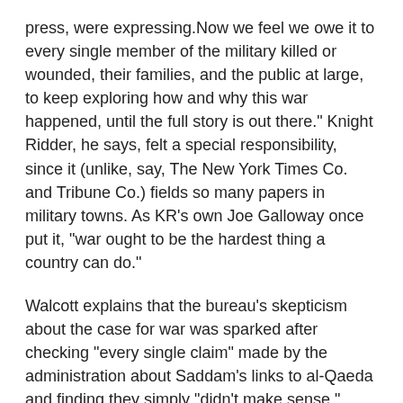press, were expressing.Now we feel we owe it to every single member of the military killed or wounded, their families, and the public at large, to keep exploring how and why this war happened, until the full story is out there." Knight Ridder, he says, felt a special responsibility, since it (unlike, say, The New York Times Co. and Tribune Co.) fields so many papers in military towns. As KR's own Joe Galloway once put it, "war ought to be the hardest thing a country can do."
Walcott explains that the bureau's skepticism about the case for war was sparked after checking "every single claim" made by the administration about Saddam's links to al-Qaeda and finding they simply "didn't make sense." From that, "one question led to another," he recalls.
But there's another reason KR was so "alert" (as Ben Bradlee would phrase it) when some of the other national news outlets were not. "Our sources," Walcott says, "include a large number of people at the working level in government, not on the cocktail circuit. These unglamorous people — they could be called the 'blue- collar' type — actually